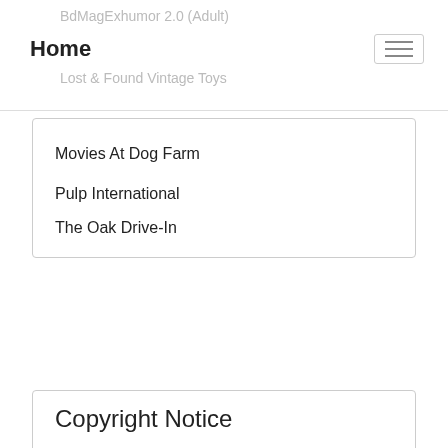BdMagExhumor 2.0 (Adult)
Home
Lost & Found Vintage Toys
Movies At Dog Farm
Pulp International
The Oak Drive-In
Copyright Notice
[Figure (logo): Creative Commons BY-NC-ND license badge icon]
From Zombos' Closet by John Michael Cozzoli is licensed under a Creative Commons Attribution-NonCommercial-NoDerivatives 4.0 International License.
Based on a work at http://www.zomboscloset.com.
Copyright© 2006-2022
From Zombos' Closet's fictional characters and personal blog posts are created and copyrighted by JM Cozzoli. Additional content is copyrighted by the respective